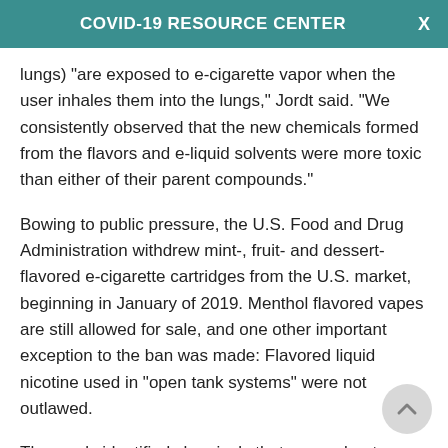COVID-19 RESOURCE CENTER
lungs) "are exposed to e-cigarette vapor when the user inhales them into the lungs," Jordt said. "We consistently observed that the new chemicals formed from the flavors and e-liquid solvents were more toxic than either of their parent compounds."
Bowing to public pressure, the U.S. Food and Drug Administration withdrew mint-, fruit- and dessert-flavored e-cigarette cartridges from the U.S. market, beginning in January of 2019. Menthol flavored vapes are still allowed for sale, and one other important exception to the ban was made: Flavored liquid nicotine used in "open tank systems" were not outlawed.
The newly identified chemicals that come about as a combo of flavorings and solvents seem to activate